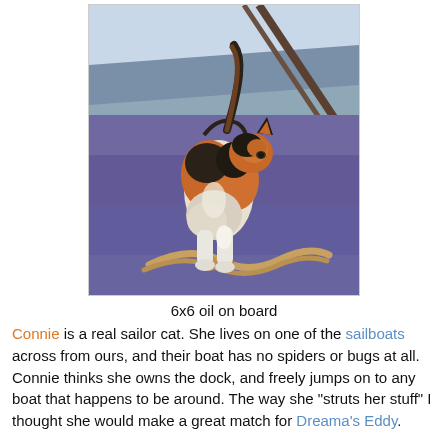[Figure (illustration): Oil painting of a calico cat (black, orange, and white) standing on a boat deck with ropes visible, viewed from behind at a slight angle, looking to the right. The background shows blue-grey water and dock elements painted in impressionistic style.]
6x6 oil on board
Connie is a real sailor cat. She lives on one of the sailboats across from ours, and their boat has no spiders or bugs at all. Connie thinks she owns the dock, and freely jumps on to any boat that happens to be around. The way she "struts her stuff" I thought she would make a great match for Dreama's Eddy.